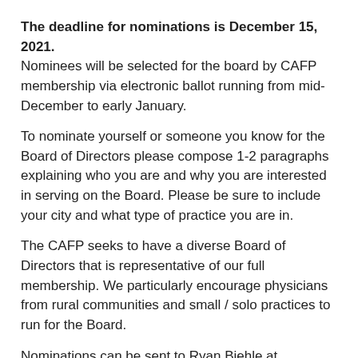The deadline for nominations is December 15, 2021. Nominees will be selected for the board by CAFP membership via electronic ballot running from mid-December to early January.
To nominate yourself or someone you know for the Board of Directors please compose 1-2 paragraphs explaining who you are and why you are interested in serving on the Board. Please be sure to include your city and what type of practice you are in.
The CAFP seeks to have a diverse Board of Directors that is representative of our full membership. We particularly encourage physicians from rural communities and small / solo practices to run for the Board.
Nominations can be sent to Ryan Biehle at ryan@coloradoafp.org.
Who serves on the CAFP Board of Directors?
Family physicians, family medicine residents, and medical students all serve on the board.